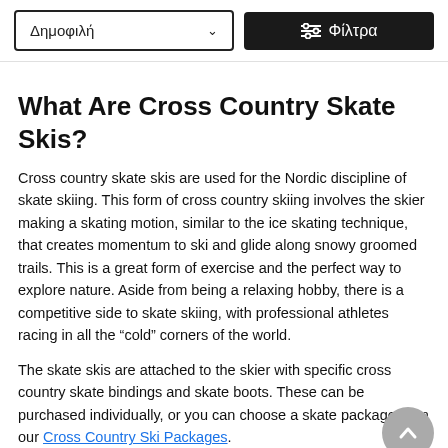Δημοφιλή  ☰ Φίλτρα
What Are Cross Country Skate Skis?
Cross country skate skis are used for the Nordic discipline of skate skiing. This form of cross country skiing involves the skier making a skating motion, similar to the ice skating technique, that creates momentum to ski and glide along snowy groomed trails. This is a great form of exercise and the perfect way to explore nature. Aside from being a relaxing hobby, there is a competitive side to skate skiing, with professional athletes racing in all the “cold” corners of the world.
The skate skis are attached to the skier with specific cross country skate bindings and skate boots. These can be purchased individually, or you can choose a skate package from our Cross Country Ski Packages.